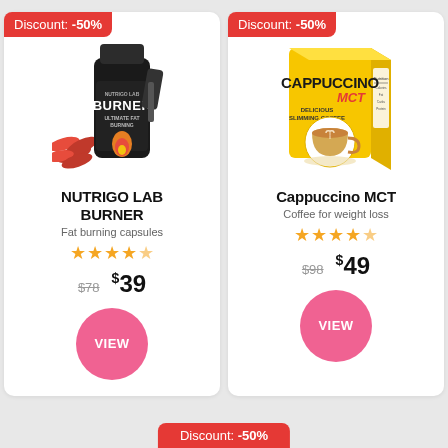[Figure (infographic): Nutrigo Lab Burner product card with discount badge -50%, product image of black bottle with red capsules, product name, description, stars, old price $78, new price $39, VIEW button]
[Figure (infographic): Cappuccino MCT product card with discount badge -50%, product image of yellow box with cappuccino cup, product name, description, stars, old price $98, new price $49, VIEW button]
Discount: -50%